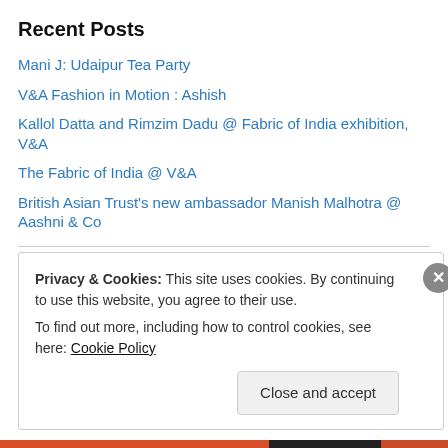Recent Posts
Mani J: Udaipur Tea Party
V&A Fashion in Motion : Ashish
Kallol Datta and Rimzim Dadu @ Fabric of India exhibition, V&A
The Fabric of India @ V&A
British Asian Trust's new ambassador Manish Malhotra @ Aashni & Co
[Figure (logo): Indian Roots logo image (broken/unloaded image placeholder)]
Privacy & Cookies: This site uses cookies. By continuing to use this website, you agree to their use.
To find out more, including how to control cookies, see here: Cookie Policy
Close and accept